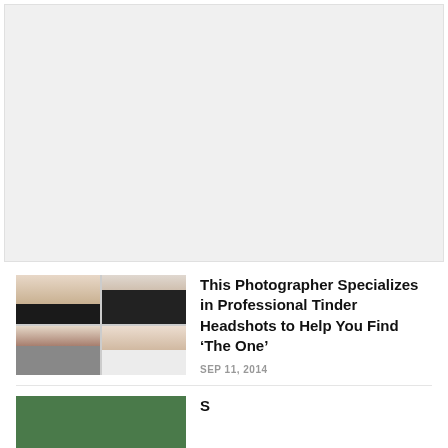[Figure (other): Advertisement placeholder — large gray rectangle at top of page]
[Figure (photo): Four-panel photo grid showing headshots of two women and two men against neutral backgrounds]
This Photographer Specializes in Professional Tinder Headshots to Help You Find ‘The One’
SEP 11, 2014
[Figure (photo): Partial thumbnail image — appears to show outdoor or nature scene, cropped at bottom of page]